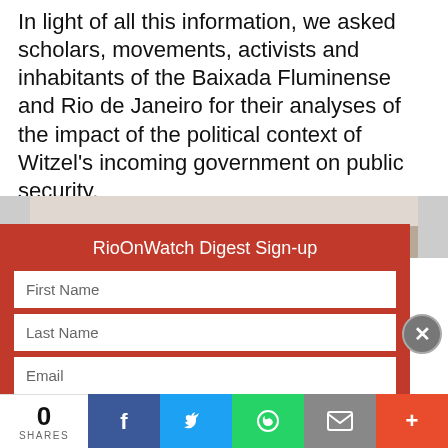In light of all this information, we asked scholars, movements, activists and inhabitants of the Baixada Fluminense and Rio de Janeiro for their analyses of the impact of the political context of Witzel's incoming government on public security.
[Figure (photo): Partial photo of a person's face, showing forehead and glasses, with a light grey/brown background.]
RioOnWatch Digest Sign-up
First Name
Last Name
Email
Organization
Country
0 SHARES | Facebook | Twitter | WhatsApp | Email | More